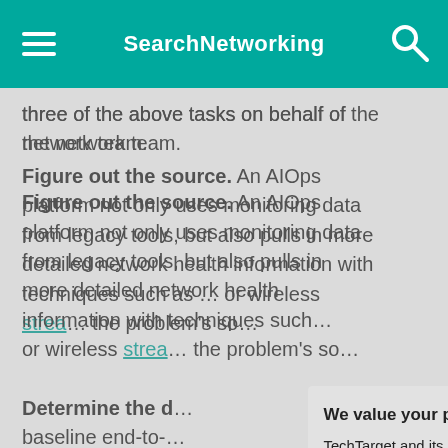SearchNetworking
three of the above tasks on behalf of the network team.
Figure out the source. An AIOps platform not only uses monitoring data from legacy tools, but also pulls in more detailed network health information with techniques such as … or wireless strea… the problem's so…
Determine the d… baseline end-to-… networks and se… of statistical nor… relevant network… determine the af… as the problem's…
We value your privacy.
TechTarget and its partners employ cookies to improve your experience on our site, to analyze traffic and performance, and to serve personalized content and advertising that are relevant to your professional interests. You can manage your settings at any time. Please view our Privacy Policy for more information